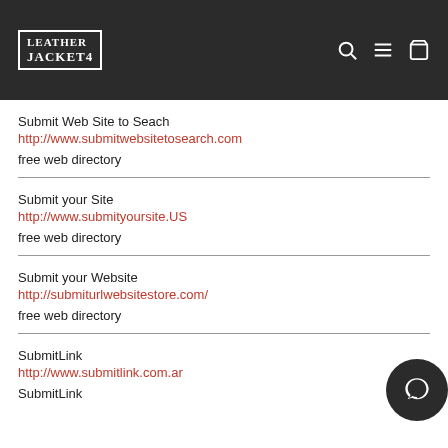Leather Jacket 4
Submit Web Site to Seach
http://www.submitwebsitetosearch.com
free web directory
Submit your Site
http://www.submityoursite.US
free web directory
Submit your Website
http://submiturlwebsitestore.com/
free web directory
SubmitLink
http://www.submitlink.com.ar
SubmitLink